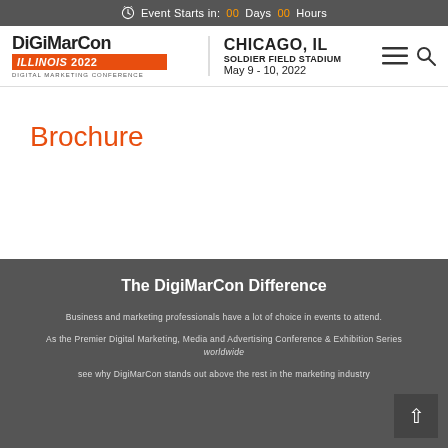Event Starts in: 00 Days 00 Hours
[Figure (logo): DigiMarCon Illinois 2022 Digital Marketing Conference logo with orange badge]
CHICAGO, IL SOLDIER FIELD STADIUM May 9 - 10, 2022
Brochure
The DigiMarCon Difference
Business and marketing professionals have a lot of choice in events to attend.
As the Premier Digital Marketing, Media and Advertising Conference & Exhibition Series worldwide see why DigiMarCon stands out above the rest in the marketing industry